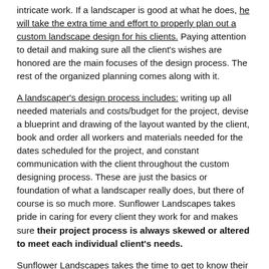intricate work. If a landscaper is good at what he does, he will take the extra time and effort to properly plan out a custom landscape design for his clients. Paying attention to detail and making sure all the client's wishes are honored are the main focuses of the design process. The rest of the organized planning comes along with it.
A landscaper's design process includes: writing up all needed materials and costs/budget for the project, devise a blueprint and drawing of the layout wanted by the client, book and order all workers and materials needed for the dates scheduled for the project, and constant communication with the client throughout the custom designing process. These are just the basics or foundation of what a landscaper really does, but there of course is so much more. Sunflower Landscapes takes pride in caring for every client they work for and makes sure their project process is always skewed or altered to meet each individual client's needs.
Sunflower Landscapes takes the time to get to know their